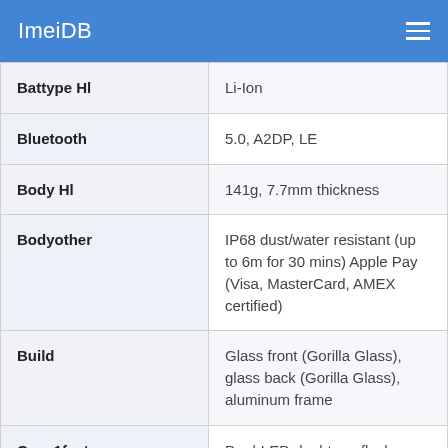ImeiDB
| Attribute | Value |
| --- | --- |
| Battype Hl | Li-Ion |
| Bluetooth | 5.0, A2DP, LE |
| Body Hl | 141g, 7.7mm thickness |
| Bodyother | IP68 dust/water resistant (up to 6m for 30 mins) Apple Pay (Visa, MasterCard, AMEX certified) |
| Build | Glass front (Gorilla Glass), glass back (Gorilla Glass), aluminum frame |
| Cam 1features | Dual-LED dual-tone flash, HDR (photo/panorama) |
| Cam 1modules | 12 MP, f/1.6, 26mm (wide), |